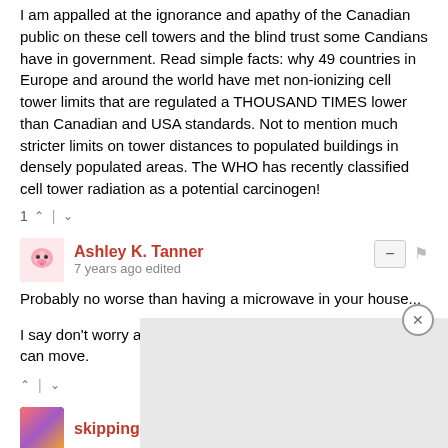I am appalled at the ignorance and apathy of the Canadian public on these cell towers and the blind trust some Candians have in government. Read simple facts: why 49 countries in Europe and around the world have met non-ionizing cell tower limits that are regulated a THOUSAND TIMES lower than Canadian and USA standards. Not to mention much stricter limits on tower distances to populated buildings in densely populated areas. The WHO has recently classified cell tower radiation as a potential carcinogen!
1 ^ | v
Ashley K. Tanner
7 years ago edited
Probably no worse than having a microwave in your house...
I say don't worry about it.... and if it is a concern.... then you can move.
^ | v
skippingrock
I some... d a